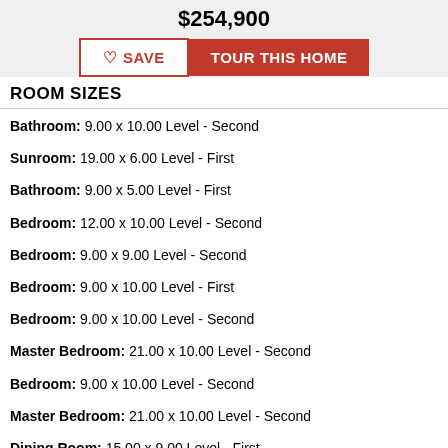$254,900
ROOM SIZES
Bathroom: 9.00 x 10.00 Level - Second
Sunroom: 19.00 x 6.00 Level - First
Bathroom: 9.00 x 5.00 Level - First
Bedroom: 12.00 x 10.00 Level - Second
Bedroom: 9.00 x 9.00 Level - Second
Bedroom: 9.00 x 10.00 Level - First
Bedroom: 9.00 x 10.00 Level - Second
Master Bedroom: 21.00 x 10.00 Level - Second
Bedroom: 9.00 x 10.00 Level - Second
Master Bedroom: 21.00 x 10.00 Level - Second
Dining Room: 15.00 x 9.00 Level - First